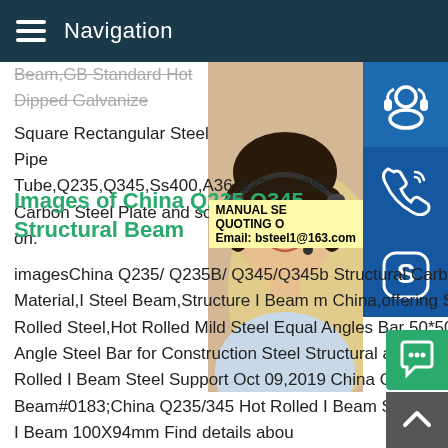Navigation
Beam,GB Standard Hot Dipped Galvanize Square Rectangular Steel Pipe Tube,Q235,Q345,Ss400,A36,S235jr,A283 Carbon Steel Plate and so on.
Images of China Q235 Q345 Structural Beam
imagesChina Q235/ Q235B/ Q345/Q345b Structural Carbon Steel A36 Q235/Q345/S Material,I Steel Beam,Structure I Beam m China,offering Structural Carbon Steel A3 Rolled Steel,Hot Rolled Mild Steel Equal Angles Bar 50*50,30*30,Q235 Carbon Angle Steel Bar for Construction Steel Structural and so on.China Q235/345 Hot Rolled I Beam Steel Support Oct 09,2019 China Q235 Q345 Hot Rolled Steel Stru Beam#0183;China Q235/345 Hot Rolled I Beam Steel,Roof Support Structural Steel I Beam 100X94mm Find details abou